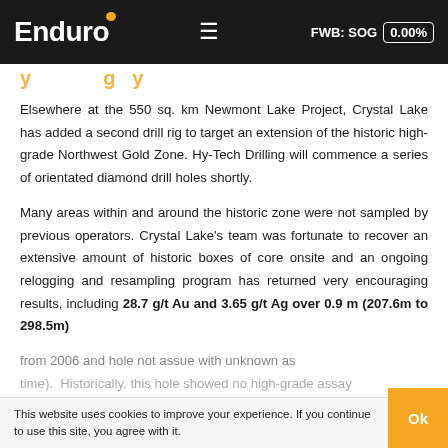Enduro | FWB: SOG 0.00%
Elsewhere at the 550 sq. km Newmont Lake Project, Crystal Lake has added a second drill rig to target an extension of the historic high-grade Northwest Gold Zone. Hy-Tech Drilling will commence a series of orientated diamond drill holes shortly.
Many areas within and around the historic zone were not sampled by previous operators. Crystal Lake's team was fortunate to recover an extensive amount of historic boxes of core onsite and an ongoing relogging and resampling program has returned very encouraging results, including 28.7 g/t Au and 3.65 g/t Ag over 0.9 m (207.6m to 298.5m).
This website uses cookies to improve your experience. If you continue to use this site, you agree with it.